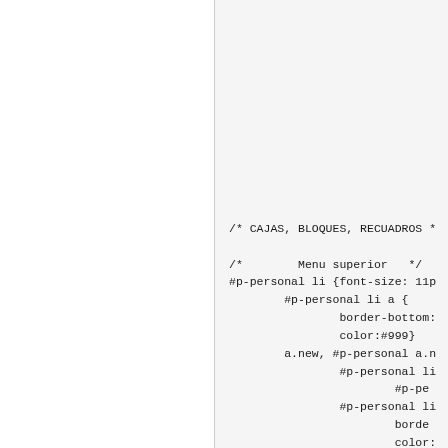/* CAJAS, BLOQUES, RECUADROS */

/*        Menu superior   */
#p-personal li {font-size: 11p
        #p-personal li a {
                border-bottom:
                color:#999}
        a.new, #p-personal a.n
                #p-personal li
                        #p-pe
                #p-personal li
                        borde
                        color:
                        text-d